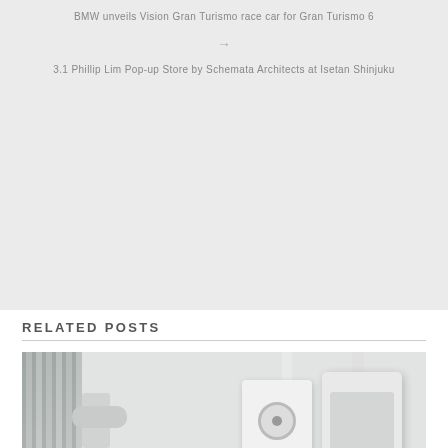BMW unveils Vision Gran Turismo race car for Gran Turismo 6
→
3.1 Phillip Lim Pop-up Store by Schemata Architects at Isetan Shinjuku
RELATED POSTS
[Figure (photo): Photo of electrical outlet/plug devices mounted on a white wall, with a radiator visible on the left and white pipe fittings at the bottom left.]